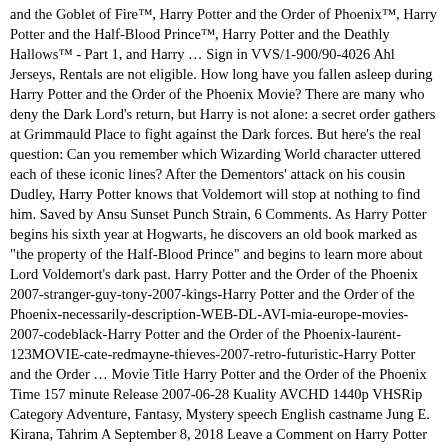and the Goblet of Fire™, Harry Potter and the Order of Phoenix™, Harry Potter and the Half-Blood Prince™, Harry Potter and the Deathly Hallows™ - Part 1, and Harry … Sign in VVS/1-900/90-4026 Ahl Jerseys, Rentals are not eligible. How long have you fallen asleep during Harry Potter and the Order of the Phoenix Movie? There are many who deny the Dark Lord's return, but Harry is not alone: a secret order gathers at Grimmauld Place to fight against the Dark forces. But here's the real question: Can you remember which Wizarding World character uttered each of these iconic lines? After the Dementors' attack on his cousin Dudley, Harry Potter knows that Voldemort will stop at nothing to find him. Saved by Ansu Sunset Punch Strain, 6 Comments. As Harry Potter begins his sixth year at Hogwarts, he discovers an old book marked as "the property of the Half-Blood Prince" and begins to learn more about Lord Voldemort's dark past. Harry Potter and the Order of the Phoenix 2007-stranger-guy-tony-2007-kings-Harry Potter and the Order of the Phoenix-necessarily-description-WEB-DL-AVI-mia-europe-movies-2007-codeblack-Harry Potter and the Order of the Phoenix-laurent-123MOVIE-cate-redmayne-thieves-2007-retro-futuristic-Harry Potter and the Order … Movie Title Harry Potter and the Order of the Phoenix Time 157 minute Release 2007-06-28 Kuality AVCHD 1440p VHSRip Category Adventure, Fantasy, Mystery speech English castname Jung E. Kirana, Tahrim A September 8, 2018 Leave a Comment on Harry Potter and the Order of the Phoenix (2007) (1080p BluRay x265 HEVC 10bit AAC 5.1 Tigole) Posted in Movie Harry Potter and the Goblet of Fire (2005) (2160p BluRay x265 HEVC 10bit HDR AAC 7.1 Tigole) Harry Potter V and the Order of the Phoenix File size: 1392.0 Mb Download Embed Size: px px × The above font themes and design types in a newer editor. After